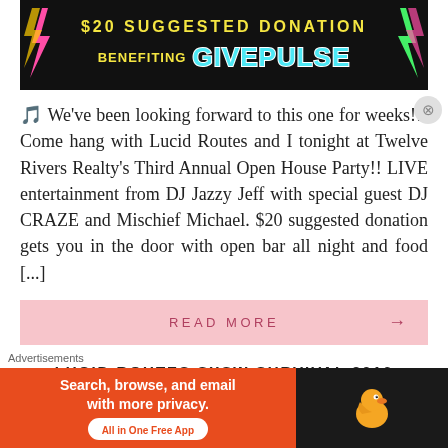[Figure (illustration): Dark background banner with yellow bold text '$20 SUGGESTED DONATION' on top and 'BENEFITING GIVEPULSE' below, with GIVEPULSE in large cyan outlined letters and colorful lightning bolt decorations]
🎵 We've been looking forward to this one for weeks!!! Come hang with Lucid Routes and I tonight at Twelve Rivers Realty's Third Annual Open House Party!! LIVE entertainment from DJ Jazzy Jeff with special guest DJ CRAZE and Mischief Michael. $20 suggested donation gets you in the door with open bar all night and food [...]
READ MORE →
LUCID ROUTES SXSW SURVIVAL 2016
Advertisements
[Figure (screenshot): DuckDuckGo advertisement banner with orange background on left side showing 'Search, browse, and email with more privacy. All in One Free App' and dark right side with DuckDuckGo duck logo]